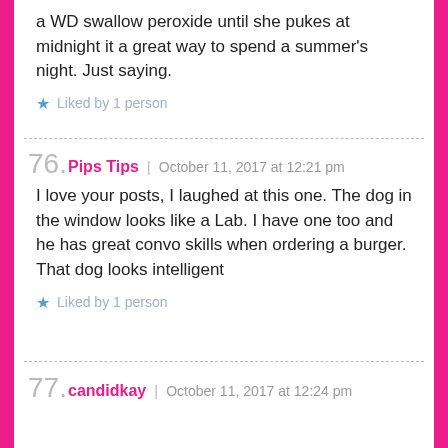a WD swallow peroxide until she pukes at midnight it a great way to spend a summer's night. Just saying.
Liked by 1 person
Pips Tips | October 11, 2017 at 12:21 pm
I love your posts, I laughed at this one. The dog in the window looks like a Lab. I have one too and he has great convo skills when ordering a burger. That dog looks intelligent
Liked by 1 person
candidkay | October 11, 2017 at 12:24 pm